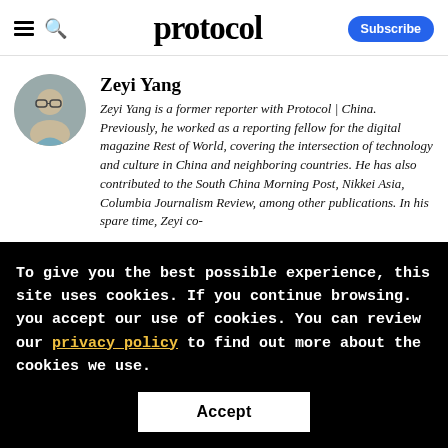protocol
Zeyi Yang
Zeyi Yang is a former reporter with Protocol | China. Previously, he worked as a reporting fellow for the digital magazine Rest of World, covering the intersection of technology and culture in China and neighboring countries. He has also contributed to the South China Morning Post, Nikkei Asia, Columbia Journalism Review, among other publications. In his spare time, Zeyi co-
To give you the best possible experience, this site uses cookies. If you continue browsing. you accept our use of cookies. You can review our privacy policy to find out more about the cookies we use.
Accept